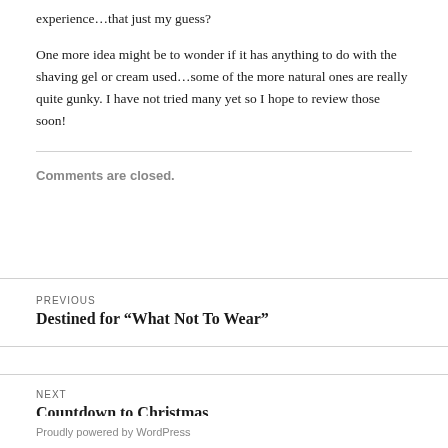experience…that just my guess?
One more idea might be to wonder if it has anything to do with the shaving gel or cream used…some of the more natural ones are really quite gunky. I have not tried many yet so I hope to review those soon!
Comments are closed.
PREVIOUS
Destined for “What Not To Wear”
NEXT
Countdown to Christmas
Proudly powered by WordPress